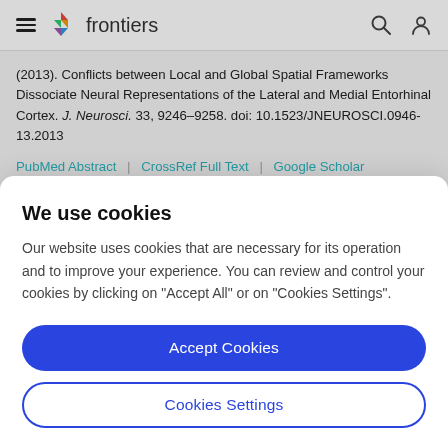frontiers
(2013). Conflicts between Local and Global Spatial Frameworks Dissociate Neural Representations of the Lateral and Medial Entorhinal Cortex. J. Neurosci. 33, 9246–9258. doi: 10.1523/JNEUROSCI.0946-13.2013
PubMed Abstract | CrossRef Full Text | Google Scholar
We use cookies
Our website uses cookies that are necessary for its operation and to improve your experience. You can review and control your cookies by clicking on "Accept All" or on "Cookies Settings".
Accept Cookies
Cookies Settings